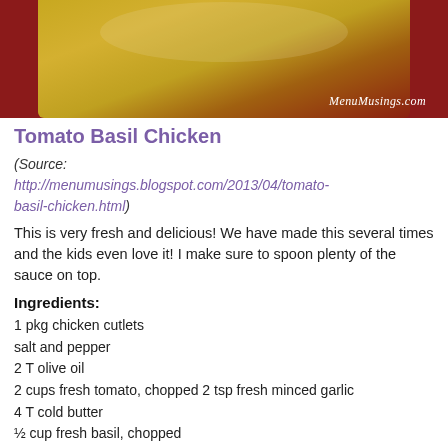[Figure (photo): Photo of a dish (Tomato Basil Chicken) on a white plate against a dark red background, with MenuMusings.com watermark]
Tomato Basil Chicken
(Source: http://menumusings.blogspot.com/2013/04/tomato-basil-chicken.html)
This is very fresh and delicious! We have made this several times and the kids even love it! I make sure to spoon plenty of the sauce on top.
Ingredients:
1 pkg chicken cutlets
salt and pepper
2 T olive oil
2 cups fresh tomato, chopped 2 tsp fresh minced garlic
4 T cold butter
½ cup fresh basil, chopped
freshly grated Parmigiano Reggiano cooked pasta